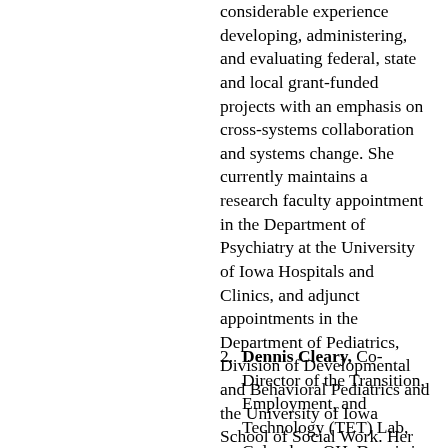considerable experience developing, administering, and evaluating federal, state and local grant-funded projects with an emphasis on cross-systems collaboration and systems change. She currently maintains a research faculty appointment in the Department of Psychiatry at the University of Iowa Hospitals and Clinics, and adjunct appointments in the Department of Pediatrics, Division of Developmental and Behavioral Pediatrics and the University of Iowa School of Social Work. Her research is in the areas of employment, quality of life, and leisure and recreation participation of adolescents and young adults with IDD.
Dennis Cleary, Co-Director of the Transition, Employment, and Technology (TET) Lab, Columbus, OH. Dennis is an